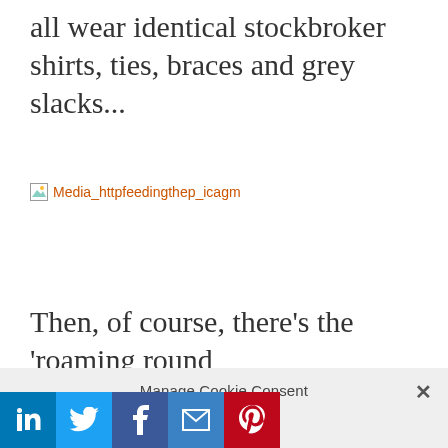all wear identical stockbroker shirts, ties, braces and grey slacks...
[Figure (photo): Broken image placeholder link: Media_httpfeedingthep_icagm]
Then, of course, there’s the ‘roaming round
Manage Cookie Consent
We use cookies to optimize our website and our service.
Accept cookies
Deny
View preferences